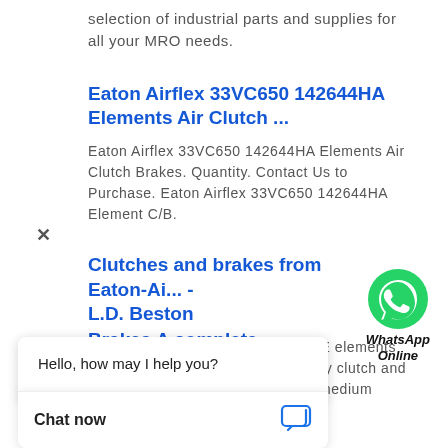selection of industrial parts and supplies for all your MRO needs.
Eaton Airflex 33VC650 142644HA Elements Air Clutch ...
Eaton Airflex 33VC650 142644HA Elements Air Clutch Brakes. Quantity. Contact Us to Purchase. Eaton Airflex 33VC650 142644HA Element C/B.
Clutches and brakes from Eaton-Ai... - L.D. Beston
[Figure (illustration): WhatsApp Online widget with green phone icon and italic bold text 'WhatsApp Online']
Air Cooled Clutches and Brakes – E elements are ideal for moderate to heavy duty clutch and brake service. They are suited for medium speed ...
Brakes A complete line of quality ... - Eaton
a unique drum torque through the air actuating tube
[Figure (screenshot): Chat popup widget with close X button, greeting 'Hello, how may I help you?', and Chat now button with chat icon]